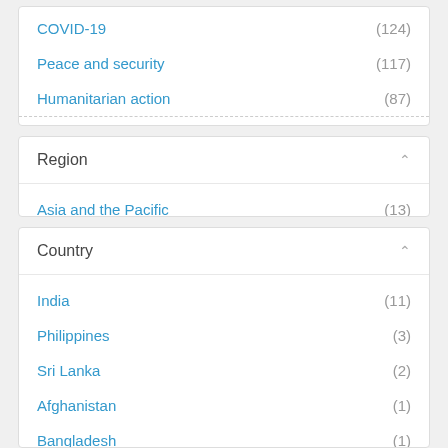COVID-19 (124)
Peace and security (117)
Humanitarian action (87)
Show more
Region
Asia and the Pacific (13)
Country
India (11)
Philippines (3)
Sri Lanka (2)
Afghanistan (1)
Bangladesh (1)
Cambodia (1)